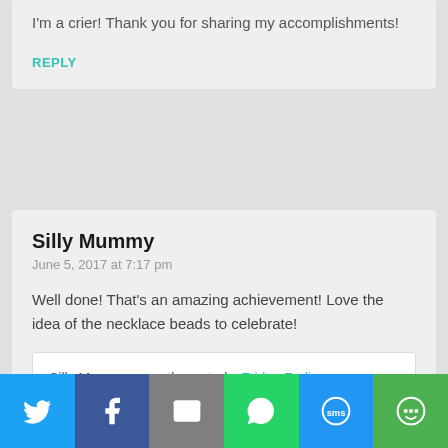I'm a crier! Thank you for sharing my accomplishments!
REPLY
Silly Mummy
June 5, 2017 at 7:17 pm
Well done! That's an amazing achievement! Love the idea of the necklace beads to celebrate!
Silly Mummy recently posted…Friday Frolics – 2nd June 2017
REPLY
[Figure (screenshot): Social share bar with Twitter, Facebook, Email, WhatsApp, SMS, and More buttons]